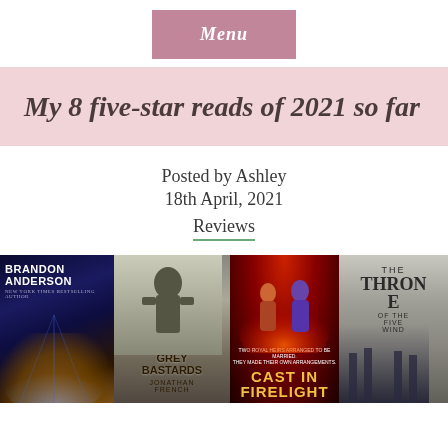Menu
My 8 five-star reads of 2021 so far
Posted by Ashley
18th April, 2021
Reviews
[Figure (photo): Four book covers side by side: Brandon Anderson (author name prominent), The Grey Bastards by Jonathan French, Cast in Firelight, and The Throne of the Five Winds]